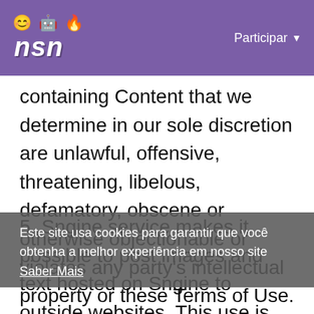NSN 😊 🤖 🔥 — Participar
containing Content that we determine in our sole discretion are unlawful, offensive, threatening, libelous, defamatory, obscene or otherwise objectionable or violates any party's intellectual property or these Terms of Use.
5. Sngine service makes it possible to post images and text hosted on Sngine to outside websites. This use is accepted (and even encouraged!). However, pages on other websites which display data hosted on Sngine must provide a
Este site usa cookies para garantir que você obtenha a melhor experiência em nosso site
Saber Mais
Aceitar!